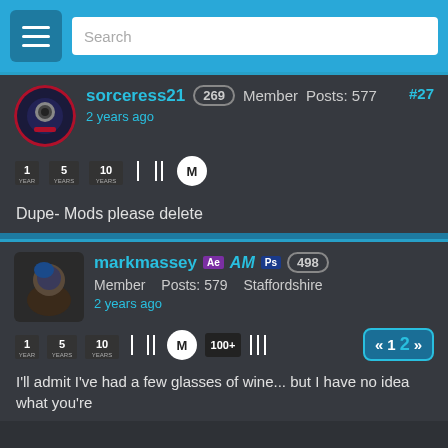Search
sorceress21  269  Member  Posts: 577
2 years ago
#27
Dupe- Mods please delete
markmassey  Ae AM Ps  498  Member  Posts: 579  Staffordshire
2 years ago
I'll admit I've had a few glasses of wine... but I have no idea what you're